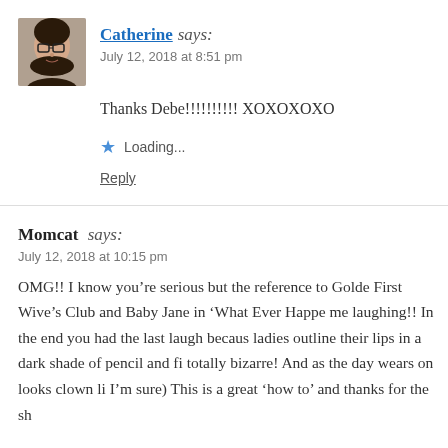[Figure (photo): Small avatar photo of a woman with glasses and dark hair]
Catherine says:
July 12, 2018 at 8:51 pm
Thanks Debe!!!!!!!!!! XOXOXOXO
Loading...
Reply
Momcat says:
July 12, 2018 at 10:15 pm
OMG!! I know you’re serious but the reference to Golde First Wive’s Club and Baby Jane in ‘What Ever Happe me laughing!! In the end you had the last laugh becaus ladies outline their lips in a dark shade of pencil and fi totally bizarre! And as the day wears on looks clown li I’m sure) This is a great ‘how to’ and thanks for the sh